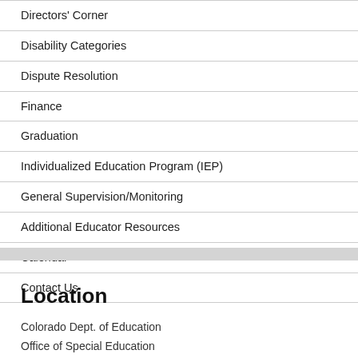Directors' Corner
Disability Categories
Dispute Resolution
Finance
Graduation
Individualized Education Program (IEP)
General Supervision/Monitoring
Additional Educator Resources
Calendar
Contact Us
Location
Colorado Dept. of Education
Office of Special Education
1560 Broadway, Suite 1100
Denver, CO 80202